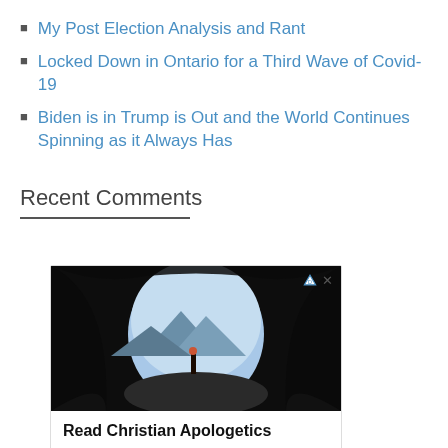My Post Election Analysis and Rant
Locked Down in Ontario for a Third Wave of Covid-19
Biden is in Trump is Out and the World Continues Spinning as it Always Has
Recent Comments
[Figure (screenshot): Advertisement for Reasonable Faith - showing a person standing in a cave opening with mountains in the background. Ad contains bold text 'Read Christian Apologetics', description 'Reasonable Faith trains Christians to defend the truth with greater effectiveness.', brand name 'Reasonable Faith', and an 'Open' button with chevron.]